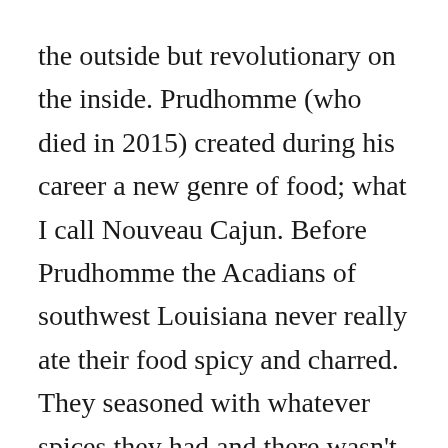the outside but revolutionary on the inside. Prudhomme (who died in 2015) created during his career a new genre of food; what I call Nouveau Cajun. Before Prudhomme the Acadians of southwest Louisiana never really ate their food spicy and charred. They seasoned with whatever spices they had and there wasn't much. (A relative once told me of eating crawfish as a young girl that was seasoned in the pot only with table salt.)
There can be no greater measure of a chef's success than what impact his cooking had on the ecology. Prudhomme's blackened redfish became so popular that a moratorium was put